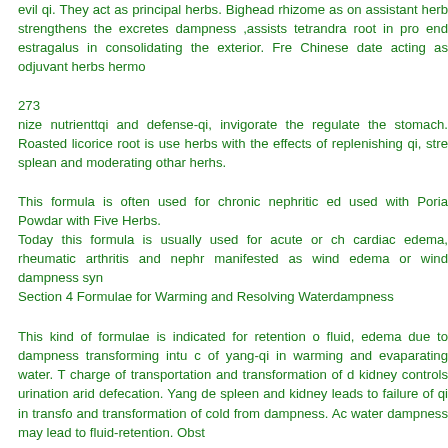evil qi. They act as principal herbs. Bighead rhizome as on assistant herb strengthens the excretes dampness ,assists tetrandra root in promoting end estragalus in consolidating the exterior. Fre Chinese date acting as odjuvant herbs hermo
273
nize nutrienttqi and defense-qi, invigorate the regulate the stomach. Roasted licorice root is used herbs with the effects of replenishing qi, strengthening splean and moderating othar herhs.
This formula is often used for chronic nephritic edema, used with Poria Powdar with Five Herbs.
Today this formula is usually used for acute or chronic cardiac edema, rheumatic arthritis and nephritis manifested as wind edema or wind dampness syndrome.
Section 4 Formulae for Warming and Resolving Waterdampness
This kind of formulae is indicated for retention of fluid, edema due to dampness transforming intu cold of yang-qi in warming and evaparating water. The charge of transportation and transformation of dampness, kidney controls urination arid defecation. Yang deficiency of spleen and kidney leads to failure of qi in transformation and transformation of cold from dampness. Accumulation of water dampness may lead to fluid-retention. Obstruction